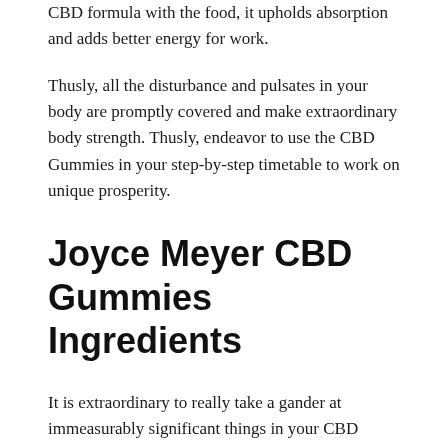CBD formula with the food, it upholds absorption and adds better energy for work.
Thusly, all the disturbance and pulsates in your body are promptly covered and make extraordinary body strength. Thusly, endeavor to use the CBD Gummies in your step-by-step timetable to work on unique prosperity.
Joyce Meyer CBD Gummies Ingredients
It is extraordinary to really take a gander at immeasurably significant things in your CBD formula and further develop it for use. Thusly, the piece of a dietary enhancement is ideal to add better power. All of the trimmings in the formula mix well and further develop prosperity. Consequently, all of the additional